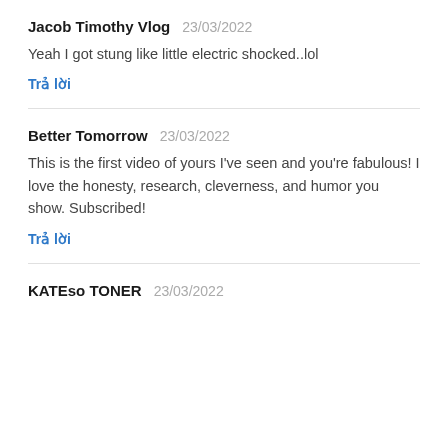Jacob Timothy Vlog  23/03/2022
Yeah I got stung like little electric shocked..lol
Trả lời
Better Tomorrow  23/03/2022
This is the first video of yours I've seen and you're fabulous! I love the honesty, research, cleverness, and humor you show. Subscribed!
Trả lời
KATEso TONER  23/03/2022